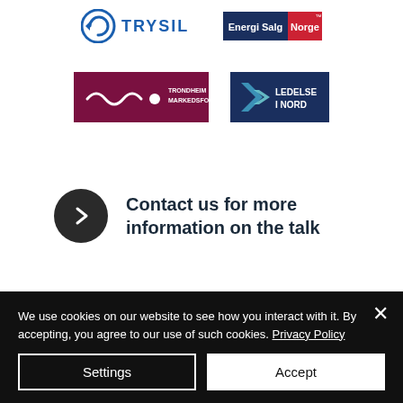[Figure (logo): Trysil logo (circular arrow icon with TRYSIL text) and Energi Salg Norge logo (dark blue and red badge)]
[Figure (logo): Trondheim Markedsforening logo (dark red with white wavy line) and Ledelse i Nord logo (dark blue with green/teal arrow icon)]
Contact us for more information on the talk
We use cookies on our website to see how you interact with it. By accepting, you agree to our use of such cookies. Privacy Policy
Settings
Accept